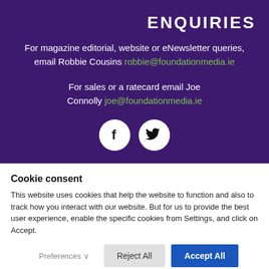ENQUIRIES
For magazine editorial, website or eNewsletter queries, email Robbie Cousins robbie@foundationmedia.ie
For sales or a ratecard email Joe Connolly joe@foundationmedia.ie
[Figure (illustration): Two circular social media icons: Facebook (f) and Twitter (bird) on white circles against purple background]
Cookie consent
This website uses cookies that help the website to function and also to track how you interact with our website. But for us to provide the best user experience, enable the specific cookies from Settings, and click on Accept.
Preferences ∨  |  Reject All  |  Accept All